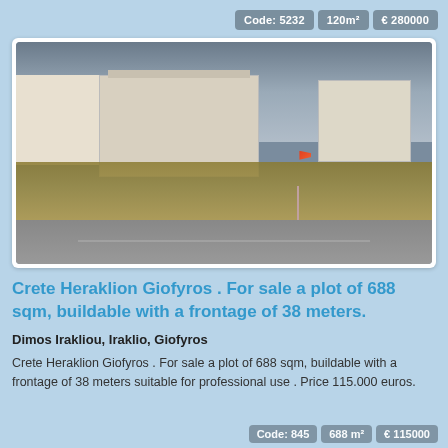Code: 5232  120m²  € 280000
[Figure (photo): Vacant land plot in Giofyros, Crete. Shows a dry grassy field with white multi-storey buildings in background, overcast sky, and a road in foreground.]
Crete Heraklion Giofyros . For sale a plot of 688 sqm, buildable with a frontage of 38 meters.
Dimos Irakliou, Iraklio, Giofyros
Crete Heraklion Giofyros . For sale a plot of 688 sqm, buildable with a frontage of 38 meters suitable for professional use . Price 115.000 euros.
Code: 845  688 m²  € 115000